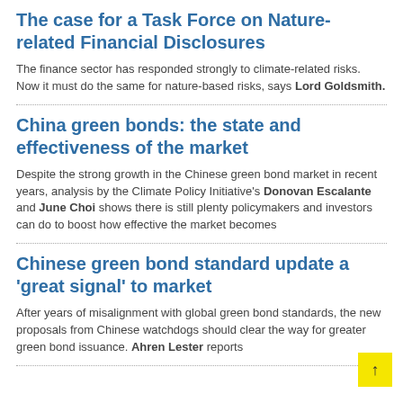The case for a Task Force on Nature-related Financial Disclosures
The finance sector has responded strongly to climate-related risks. Now it must do the same for nature-based risks, says Lord Goldsmith.
China green bonds: the state and effectiveness of the market
Despite the strong growth in the Chinese green bond market in recent years, analysis by the Climate Policy Initiative's Donovan Escalante and June Choi shows there is still plenty policymakers and investors can do to boost how effective the market becomes
Chinese green bond standard update a 'great signal' to market
After years of misalignment with global green bond standards, the new proposals from Chinese watchdogs should clear the way for greater green bond issuance. Ahren Lester reports